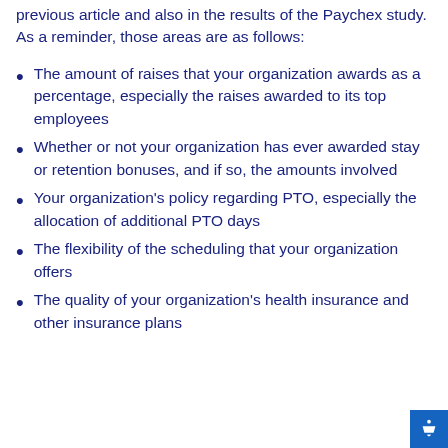previous article and also in the results of the Paychex study. As a reminder, those areas are as follows:
The amount of raises that your organization awards as a percentage, especially the raises awarded to its top employees
Whether or not your organization has ever awarded stay or retention bonuses, and if so, the amounts involved
Your organization's policy regarding PTO, especially the allocation of additional PTO days
The flexibility of the scheduling that your organization offers
The quality of your organization's health insurance and other insurance plans